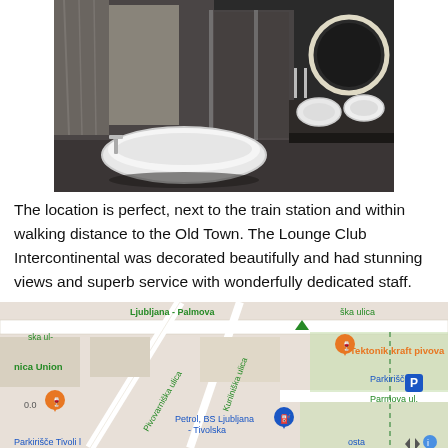[Figure (photo): Hotel bathroom with freestanding white bathtub, glass shower enclosure, oval vessel sinks on dark marble counter, round backlit mirror, dark walls and flooring]
The location is perfect, next to the train station and within walking distance to the Old Town. The Lounge Club Intercontinental was decorated beautifully and had stunning views and superb service with wonderfully dedicated staff.
[Figure (map): Google Maps screenshot showing area around Ljubljana - Palmova station, with streets including Pivovarniška ulica, Kurilniška ulica, Parmova ul., landmarks including Tektonik kraft pivova, Parkirišče, Petrol BS Ljubljana - Tivolska, and Parkirišče Tivoli locations marked with orange and blue pins]